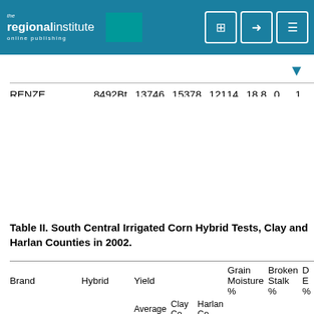The Regional Institute - Online Publishing
|  |  |  |  |  |  |  |  |
| --- | --- | --- | --- | --- | --- | --- | --- |
| RENZE | 8492Bt | 13746 | 15378 | 12114 | 18.8 | 0 | 1 |
| Avg All Entries |  | 13433 | 14939 | 12052 | 18.7 | 1 | 0 |
| Dif Req. for Sig 5% |  | 1004 | 1193 | 1444 | 0.9 | NS | NS |
| *Entered by UNL | Top Grouping | 14813-13809 |  |  |  |  |  |
Table II. South Central Irrigated Corn Hybrid Tests, Clay and Harlan Counties in 2002.
| Brand | Hybrid | Yield |  |  | Grain Moisture % | Broken Stalk % | D E % |
| --- | --- | --- | --- | --- | --- | --- | --- |
|  |  | Average Kg/ha | Clay Co. Kg/ha | Harlan Co. Kg/ha |  |  |  |